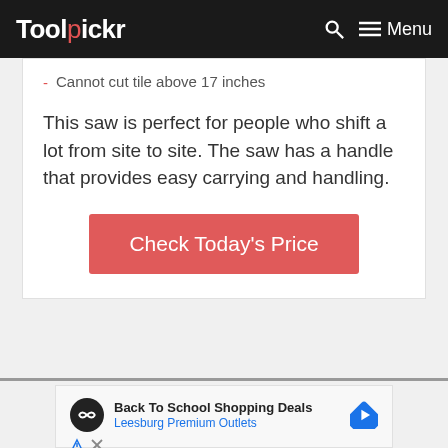Toolpickr  Menu
Cannot cut tile above 17 inches
This saw is perfect for people who shift a lot from site to site. The saw has a handle that provides easy carrying and handling.
Check Today's Price
[Figure (infographic): Advertisement block showing Back To School Shopping Deals for Leesburg Premium Outlets with circular logo icon and navigation arrow icon]